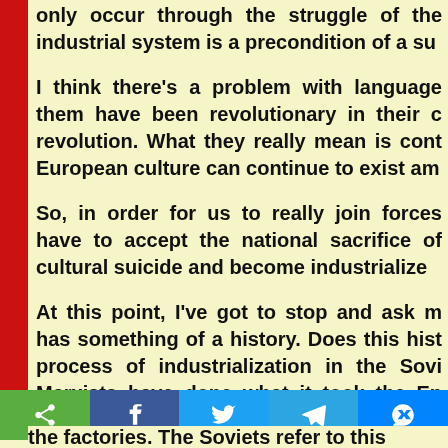only occur through the struggle of the industrial system is a precondition of a su
I think there's a problem with language them have been revolutionary in their c revolution. What they really mean is cont European culture can continue to exist am
So, in order for us to really join forces have to accept the national sacrifice of cultural suicide and become industrialize
At this point, I've got to stop and ask my has something of a history. Does this hist process of industrialization in the Sovi Marxists have done what it took the En and the Marxists did it in 60 years. I s
the factories. The Soviets refer to this